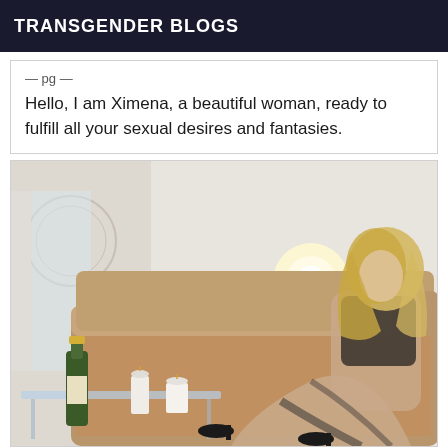TRANSGENDER BLOGS
Hello, I am Ximena, a beautiful woman, ready to fulfill all your sexual desires and fantasies.
[Figure (photo): A blonde woman posing on a tan couch in a living room setting with a glass coffee table, champagne bottle, candles, and a plant in the foreground.]